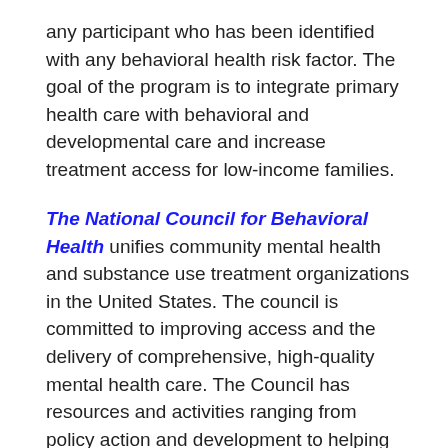any participant who has been identified with any behavioral health risk factor. The goal of the program is to integrate primary health care with behavioral and developmental care and increase treatment access for low-income families.
The National Council for Behavioral Health unifies community mental health and substance use treatment organizations in the United States. The council is committed to improving access and the delivery of comprehensive, high-quality mental health care. The Council has resources and activities ranging from policy action and development to helping providers with program implementation and best practices.
The Center for School Mental Health (CSMH) offers a number of resources and up to date information about implementing strong school mental health services, as